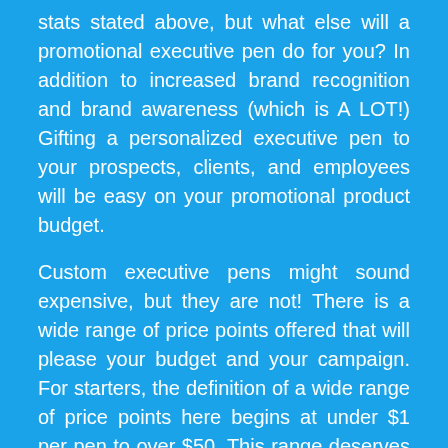stats stated above, but what else will a promotional executive pen do for you? In addition to increased brand recognition and brand awareness (which is A LOT!) Gifting a personalized executive pen to your prospects, clients, and employees will be easy on your promotional product budget.
Custom executive pens might sound expensive, but they are not! There is a wide range of price points offered that will please your budget and your campaign. For starters, the definition of a wide range of price points here begins at under $1 per pen to over $50. This range deserves some explanation though. As with all promotional products, the more you buy, the more you save. In the case of a personalized executive pen, the writing instrument that costs over $50 is easily brought down to just over $3 per pen when ordered in a larger